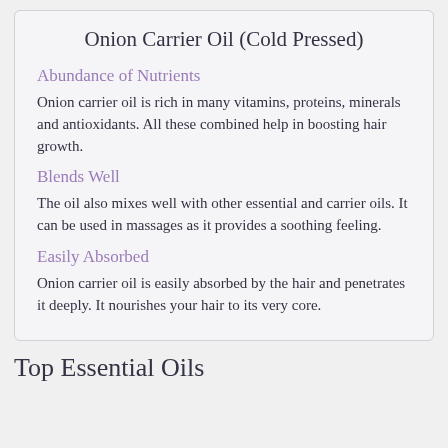Onion Carrier Oil (Cold Pressed)
Abundance of Nutrients
Onion carrier oil is rich in many vitamins, proteins, minerals and antioxidants. All these combined help in boosting hair growth.
Blends Well
The oil also mixes well with other essential and carrier oils. It can be used in massages as it provides a soothing feeling.
Easily Absorbed
Onion carrier oil is easily absorbed by the hair and penetrates it deeply. It nourishes your hair to its very core.
Top Essential Oils